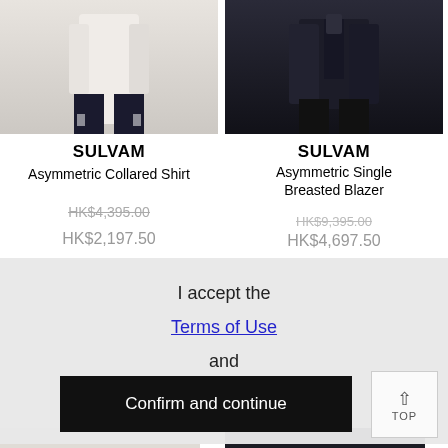[Figure (photo): Model wearing a white/cream asymmetric collared shirt with dark trousers, torso shot on white background]
[Figure (photo): Model wearing a black asymmetric single breasted blazer with black trousers, torso shot on dark background]
SULVAM
Asymmetric Collared Shirt
HK$4,395.00
HK$2,197.50
SULVAM
Asymmetric Single Breasted Blazer
HK$9,395.00
HK$4,697.50
I accept the Terms of Use and Privacy Policy
Confirm and continue